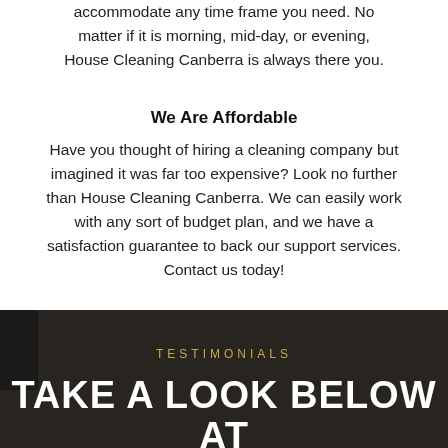accommodate any time frame you need. No matter if it is morning, mid-day, or evening, House Cleaning Canberra is always there you.
We Are Affordable
Have you thought of hiring a cleaning company but imagined it was far too expensive? Look no further than House Cleaning Canberra. We can easily work with any sort of budget plan, and we have a satisfaction guarantee to back our support services. Contact us today!
TESTIMONIALS
TAKE A LOOK BELOW AT WHAT FOLKS ARE